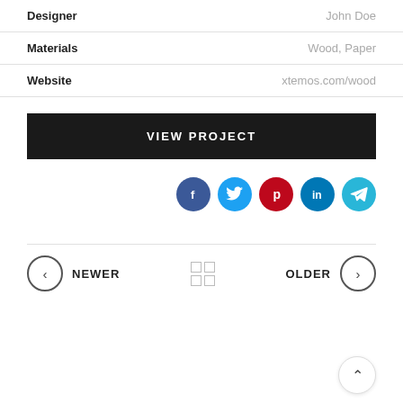| Field | Value |
| --- | --- |
| Designer | John Doe |
| Materials | Wood, Paper |
| Website | xtemos.com/wood |
VIEW PROJECT
[Figure (infographic): Social media share icons: Facebook (blue), Twitter (cyan), Pinterest (red), LinkedIn (dark blue), Telegram (cyan)]
NEWER | grid icon | OLDER